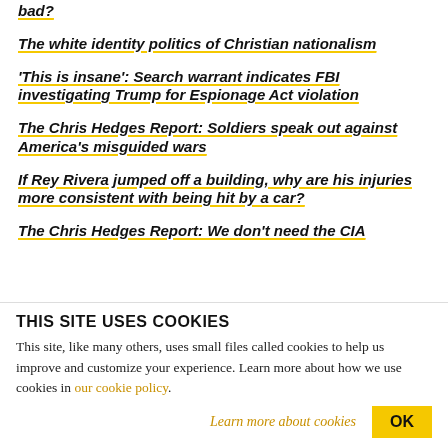bad?
The white identity politics of Christian nationalism
'This is insane': Search warrant indicates FBI investigating Trump for Espionage Act violation
The Chris Hedges Report: Soldiers speak out against America's misguided wars
If Rey Rivera jumped off a building, why are his injuries more consistent with being hit by a car?
The Chris Hedges Report: We don't need the CIA
THIS SITE USES COOKIES
This site, like many others, uses small files called cookies to help us improve and customize your experience. Learn more about how we use cookies in our cookie policy.
Learn more about cookies
OK